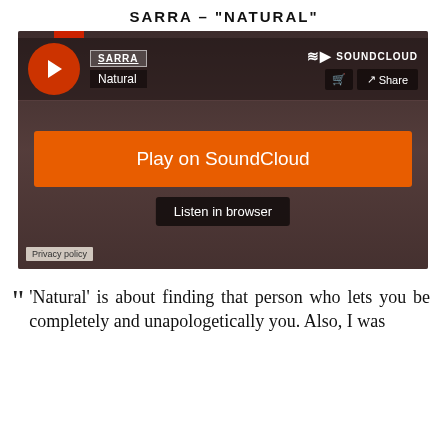SARRA – "NATURAL"
[Figure (screenshot): SoundCloud embedded player for SARRA - Natural, showing play button, track info, Play on SoundCloud button, Listen in browser button, and privacy policy link]
"'Natural' is about finding that person who lets you be completely and unapologetically you. Also, I was